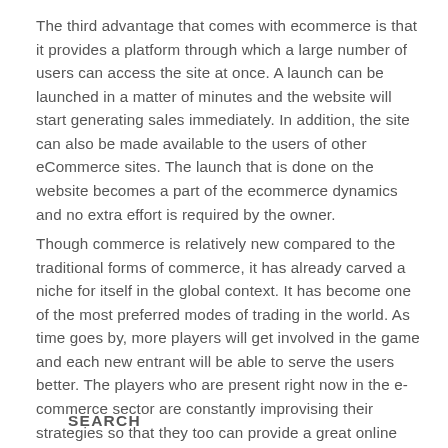The third advantage that comes with ecommerce is that it provides a platform through which a large number of users can access the site at once. A launch can be launched in a matter of minutes and the website will start generating sales immediately. In addition, the site can also be made available to the users of other eCommerce sites. The launch that is done on the website becomes a part of the ecommerce dynamics and no extra effort is required by the owner.
Though commerce is relatively new compared to the traditional forms of commerce, it has already carved a niche for itself in the global context. It has become one of the most preferred modes of trading in the world. As time goes by, more players will get involved in the game and each new entrant will be able to serve the users better. The players who are present right now in the e-commerce sector are constantly improvising their strategies so that they too can provide a great online service to its users.
SEARCH